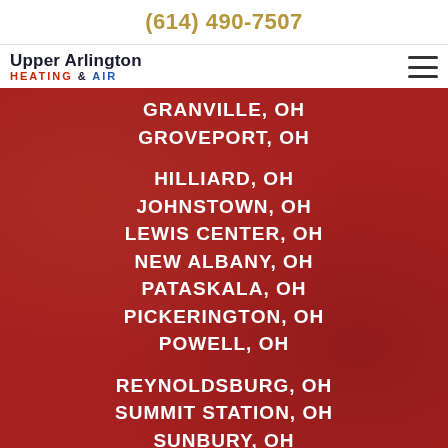(614) 490-7507
[Figure (logo): Upper Arlington Heating & Air logo with hamburger menu icon]
GRANVILLE, OH
GROVEPORT, OH
HILLIARD, OH
JOHNSTOWN, OH
LEWIS CENTER, OH
NEW ALBANY, OH
PATASKALA, OH
PICKERINGTON, OH
POWELL, OH
REYNOLDSBURG, OH
SUMMIT STATION, OH
SUNBURY, OH
UPPER ARLINGTON, OH